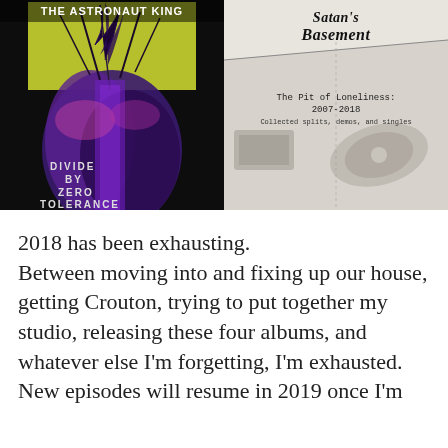[Figure (photo): Album cover for 'The Astronaut King - Divide by Zero Tolerance'. Dark background with purple/violet abstract imagery of trees and a feather. White text at top reads 'THE ASTRONAUT KING' and bottom reads 'DIVIDE BY ZERO TOLERANCE'.]
[Figure (illustration): Album cover for 'Satan's Basement - The Pit of Loneliness 2007-2018. Collected splits, demos, and singles'. Black and white stippled/dotted illustration of a basement scene with a record player. Gothic/metal style lettering at top.]
2018 has been exhausting. Between moving into and fixing up our house, getting Crouton, trying to put together my studio, releasing these four albums, and whatever else I'm forgetting, I'm exhausted. New episodes will resume in 2019 once I'm